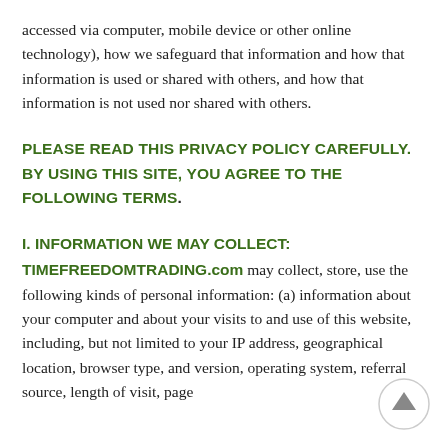accessed via computer, mobile device or other online technology), how we safeguard that information and how that information is used or shared with others, and how that information is not used nor shared with others.
PLEASE READ THIS PRIVACY POLICY CAREFULLY. BY USING THIS SITE, YOU AGREE TO THE FOLLOWING TERMS.
I. INFORMATION WE MAY COLLECT:
TIMEFREEDOMTRADING.com may collect, store, use the following kinds of personal information: (a) information about your computer and about your visits to and use of this website, including, but not limited to your IP address, geographical location, browser type, and version, operating system, referral source, length of visit, page